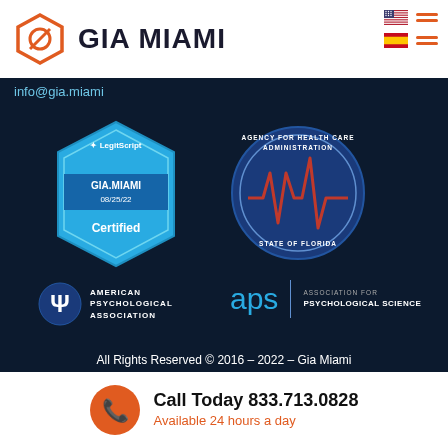[Figure (logo): GIA Miami logo with orange hexagonal icon and bold text 'GIA MIAMI']
[Figure (illustration): US flag and Spanish flag with orange hamburger menu lines navigation]
info@gia.miami
[Figure (logo): LegitScript certified badge for GIA.MIAMI 08/25/22]
[Figure (logo): Agency for Health Care Administration State of Florida circular seal]
[Figure (logo): American Psychological Association logo with psi symbol]
[Figure (logo): APS Association for Psychological Science logo]
All Rights Reserved © 2016 – 2022 – Gia Miami
Call Today 833.713.0828
Available 24 hours a day